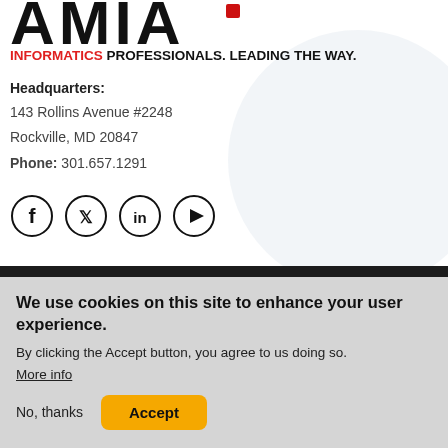[Figure (logo): AMIA logo — large stylized black letters partially cropped at top of page]
INFORMATICS PROFESSIONALS. LEADING THE WAY.
Headquarters:
143 Rollins Avenue #2248
Rockville, MD 20847
Phone: 301.657.1291
[Figure (infographic): Four circular social media icons: Facebook (f), Twitter (bird), LinkedIn (in), YouTube (play button)]
We use cookies on this site to enhance your user experience.
By clicking the Accept button, you agree to us doing so.
More info
No, thanks
Accept